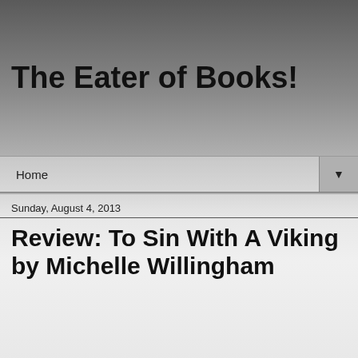The Eater of Books!
Home
Sunday, August 4, 2013
Review: To Sin With A Viking by Michelle Willingham